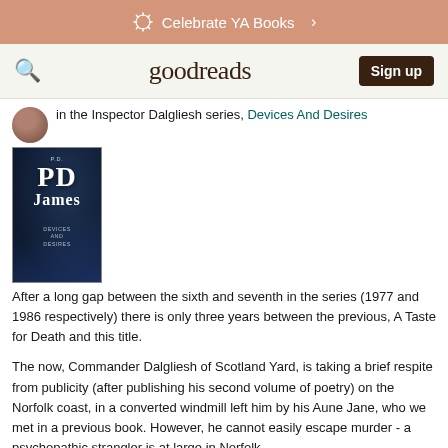Celebrate YA Books >
goodreads  Sign up
in the Inspector Dalgliesh series, Devices And Desires
[Figure (photo): Book cover of 'Devices and Desires' by PD James — dark blue/black background with white text showing 'PD James' in large letters and 'Devices and Desires' below.]
After a long gap between the sixth and seventh in the series (1977 and 1986 respectively) there is only three years between the previous, A Taste for Death and this title.
The now, Commander Dalgliesh of Scotland Yard, is taking a brief respite from publicity (after publishing his second volume of poetry) on the Norfolk coast, in a converted windmill left him by his Aune Jane, who we met in a previous book. However, he cannot easily escape murder - a psychopathic strangler is at large in Norfolk.
This novel takes place on Larksoken, a fictional isolated headland in Norfolk. The title comes from the service of